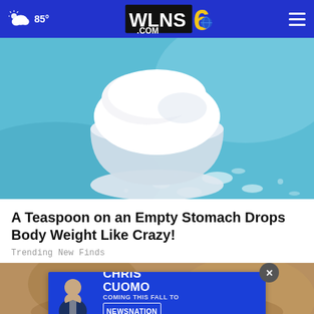WLNS 6 .COM — 85°
[Figure (photo): A white scoop of white powder (supplement or flour) overflowing on a light blue background with scattered powder granules]
A Teaspoon on an Empty Stomach Drops Body Weight Like Crazy!
Trending New Finds
[Figure (photo): Partial view of a second article image, partially obscured by an advertisement overlay for Chris Cuomo coming to NewsNation this fall]